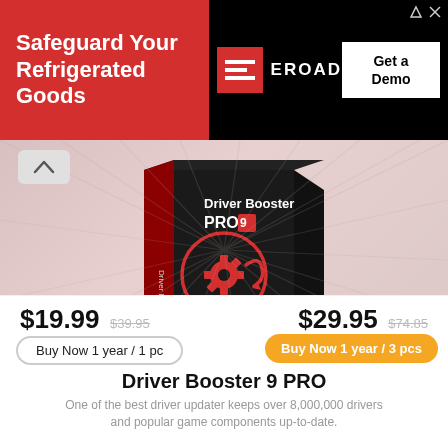[Figure (infographic): Advertisement banner: red section with text 'Safeguard Your Refrigerated Goods', EROAD logo with red square icon, and black 'Get a Demo' button on black background.]
[Figure (photo): Driver Booster PRO 9 software box on a light pink/red gradient background. Black box with red and white logo. IObit branding.]
Driver Booster 9 PRO
One of the best driver updater keeps over 8,000,000 drivers and popular game components up-to-date.
$19.99 $39.95
$29.95 $74.85
Buy Now 1 year / 1 pc
Buy Now 1 year / 3 pcs